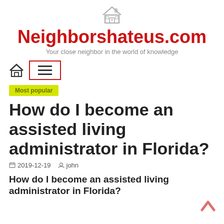[Figure (logo): Small house/home icon SVG at top center]
Neighborshateus.com
Your close neighbor in the world of knowledge
[Figure (other): Navigation bar with home icon and hamburger menu button with red border]
Most popular
How do I become an assisted living administrator in Florida?
2019-12-19  john
How do I become an assisted living administrator in Florida?